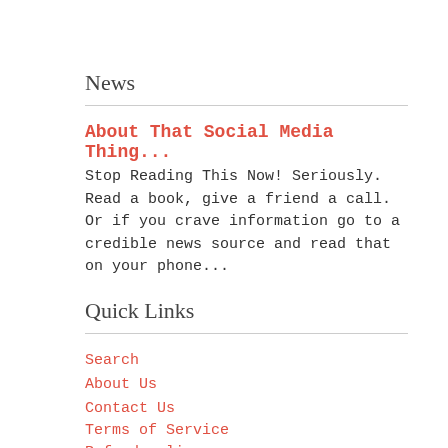News
About That Social Media Thing...
Stop Reading This Now! Seriously. Read a book, give a friend a call. Or if you crave information go to a credible news source and read that on your phone...
Quick Links
Search
About Us
Contact Us
Terms of Service
Refund policy